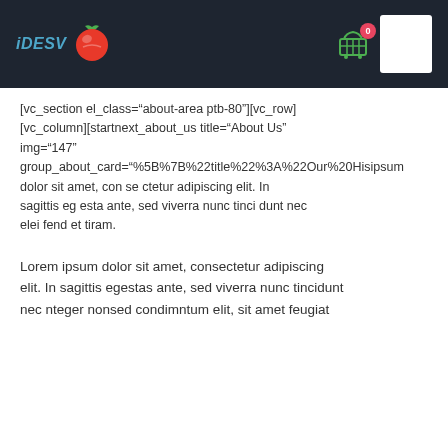iDESV logo with navigation header including cart icon with badge 0 and user profile box
[vc_section el_class="about-area ptb-80"][vc_row][vc_column][startnext_about_us title="About Us" img="147" group_about_card="%5B%7B%22title%22%3A%22Our%20His ipsum dolor sit amet, con se ctetur adipiscing elit. In sagittis eg esta ante, sed viverra nunc tinci dunt nec elei fend et tiram.
Lorem ipsum dolor sit amet, consectetur adipiscing elit. In sagittis egestas ante, sed viverra nunc tincidunt nec nteger nonsed condimntum elit, sit amet feugiat